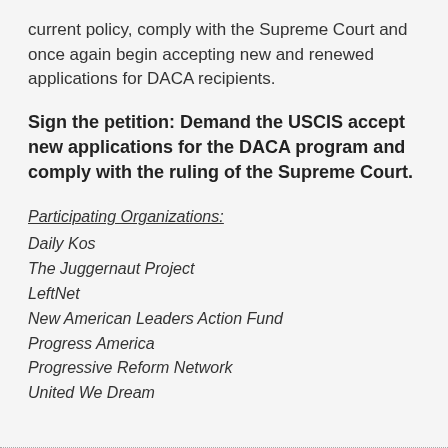current policy, comply with the Supreme Court and once again begin accepting new and renewed applications for DACA recipients.
Sign the petition: Demand the USCIS accept new applications for the DACA program and comply with the ruling of the Supreme Court.
Participating Organizations:
Daily Kos
The Juggernaut Project
LeftNet
New American Leaders Action Fund
Progress America
Progressive Reform Network
United We Dream